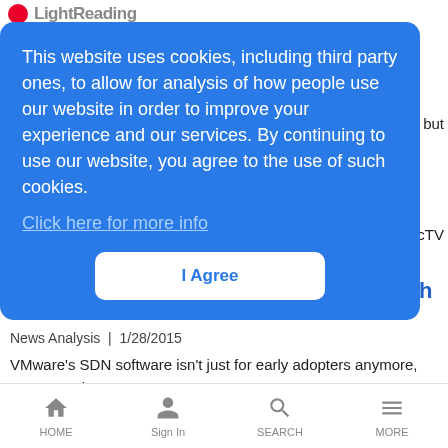LightReading
This website uses cookies, including third party ones, to allow for analysis of how people use our website in order to improve your experience and our services. By continuing to use our website, you agree to the use of such cookies.
Click here for more info
I Agree
'Impressive' NSX Drives VMware Growth
News Analysis | 1/28/2015
VMware's SDN software isn't just for early adopters anymore, say executives.
HOME  Sign In  SEARCH  MORE